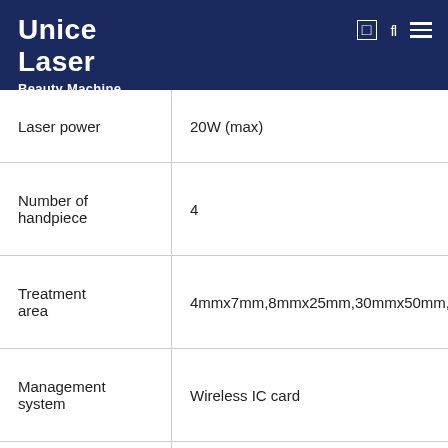Unice Laser Beauty Machine
| Property | Value |
| --- | --- |
| Laser power | 20W (max) |
| Number of handpiece | 4 |
| Treatment area | 4mmx7mm,8mmx25mm,30mmx50mm,40mm... |
| Management system | Wireless IC card |
| Rated input power | 750VA |
| Mode of power supply | AC230V±10%,50Hz±1Hz/ AC110V±10%,60Hz±1Hz(Optional) |
| Net weight | 55kg |